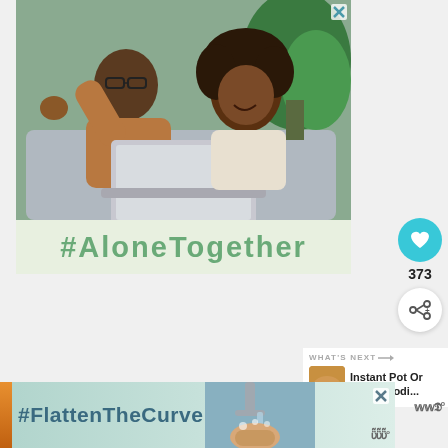[Figure (photo): Father and daughter sitting on a couch waving and smiling at a laptop screen, with a plant in the background. Ad image for #AloneTogether campaign.]
#AloneTogether
[Figure (infographic): Like button (heart icon in teal circle), count of 373, and share button]
WHAT'S NEXT → Instant Pot Or Ninja Foodi...
[Figure (photo): Bottom banner ad showing #FlattenTheCurve with hands being washed under a faucet]
#FlattenTheCurve